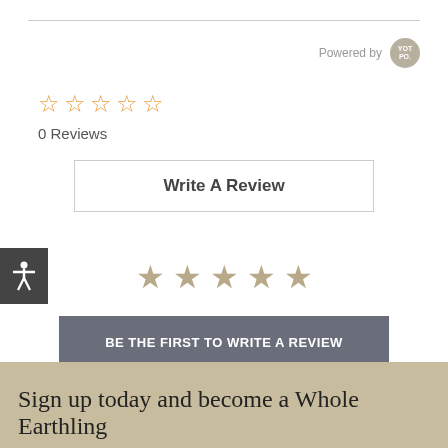Powered by YOT PO.
☆ ☆ ☆ ☆ ☆
0 Reviews
Write A Review
★ ★ ★ ★ ★
BE THE FIRST TO WRITE A REVIEW
Sign up today and become a Whole Earthling